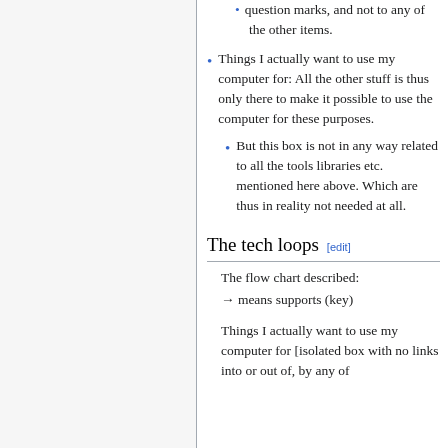question marks, and not to any of the other items.
Things I actually want to use my computer for: All the other stuff is thus only there to make it possible to use the computer for these purposes.
But this box is not in any way related to all the tools libraries etc. mentioned here above. Which are thus in reality not needed at all.
The tech loops [edit]
The flow chart described:
→ means supports (key)
Things I actually want to use my computer for [isolated box with no links into or out of, by any of